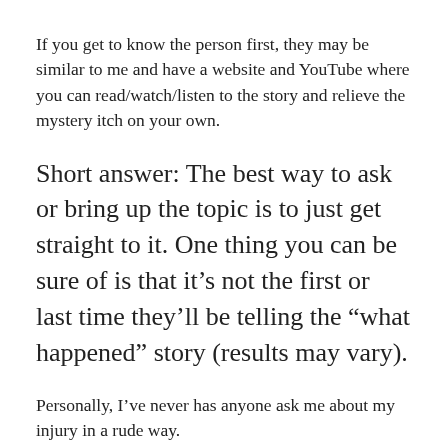If you get to know the person first, they may be similar to me and have a website and YouTube where you can read/watch/listen to the story and relieve the mystery itch on your own.
Short answer: The best way to ask or bring up the topic is to just get straight to it. One thing you can be sure of is that it’s not the first or last time they’ll be telling the “what happened” story (results may vary).
Personally, I’ve never has anyone ask me about my injury in a rude way.